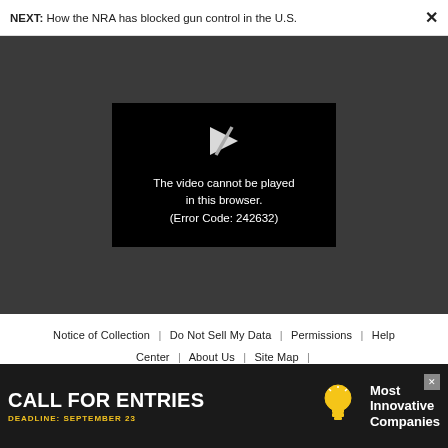NEXT: How the NRA has blocked gun control in the U.S.
[Figure (screenshot): Video player showing error message: The video cannot be played in this browser. (Error Code: 242632)]
Notice of Collection | Do Not Sell My Data | Permissions | Help Center | About Us | Site Map | Fast Company & Inc © 2022 Mansueto Ventures, LLC
[Figure (infographic): Advertisement banner: CALL FOR ENTRIES DEADLINE: SEPTEMBER 23 with lightbulb icon and text Most Innovative Companies]